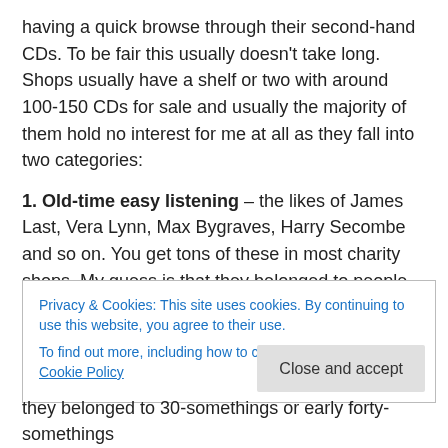having a quick browse through their second-hand CDs. To be fair this usually doesn't take long. Shops usually have a shelf or two with around 100-150 CDs for sale and usually the majority of them hold no interest for me at all as they fall into two categories:
1. Old-time easy listening – the likes of James Last, Vera Lynn, Max Bygraves, Harry Secombe and so on. You get tons of these in most charity shops. My guess is that they belonged to people in their late 70s/80s who have either died or gone into nursing homes and their CDs have been
Privacy & Cookies: This site uses cookies. By continuing to use this website, you agree to their use.
To find out more, including how to control cookies, see here: Cookie Policy
they belonged to 30-somethings or early forty-somethings